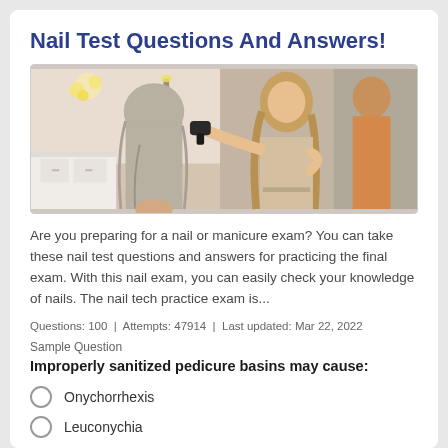Nail Test Questions And Answers!
[Figure (photo): Photo of a hair salon with a stylist blow-drying a client's hair, another person visible in mirror background]
Are you preparing for a nail or manicure exam? You can take these nail test questions and answers for practicing the final exam. With this nail exam, you can easily check your knowledge of nails. The nail tech practice exam is...
Questions: 100  |  Attempts: 47914  |  Last updated: Mar 22, 2022
Sample Question
Improperly sanitized pedicure basins may cause:
Onychorrhexis
Leuconychia